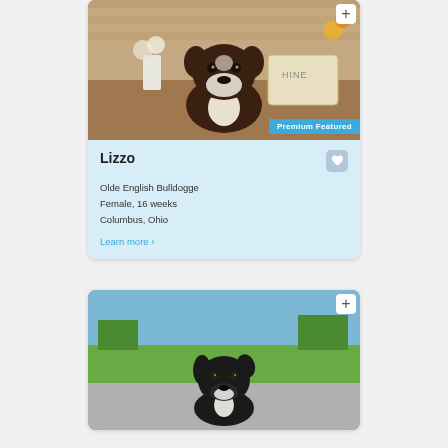[Figure (photo): Brindle and white Olde English Bulldogge puppy standing indoors with floral decorations and a 'sunshine' pillow in background. Premium Featured badge in bottom right corner.]
Lizzo
Olde English Bulldogge
Female, 16 weeks
Columbus, Ohio
Learn more >
[Figure (photo): Black and white puppy (Olde English Bulldogge) sitting on a road with green grass and trees in background.]